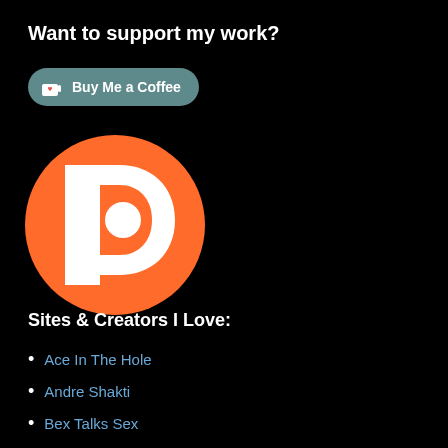Want to support my work?
[Figure (logo): Buy Me a Coffee button with teal rounded rectangle background, coffee cup icon with heart, white text 'Buy Me a Coffee']
[Figure (logo): Patreon logo - orange circle with white stylized P letter cutout]
Sites & Creators I Love:
Ace In The Hole
Andre Shakti
Bex Talks Sex
Chronic Sex
Coffee & Kink